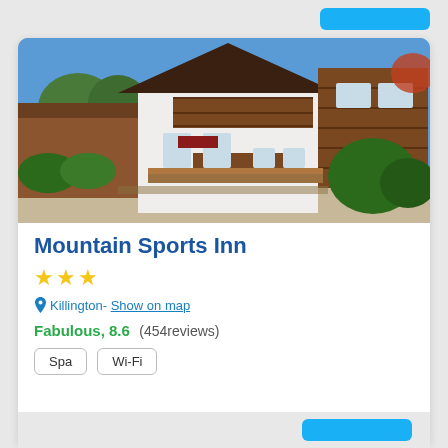[Figure (photo): Exterior photo of Mountain Sports Inn, a chalet-style building with brown wood siding, white walls, balconies, and green shrubs under a blue sky.]
Mountain Sports Inn
★★★
Killington- Show on map
Fabulous, 8.6 (454reviews)
Spa
Wi-Fi